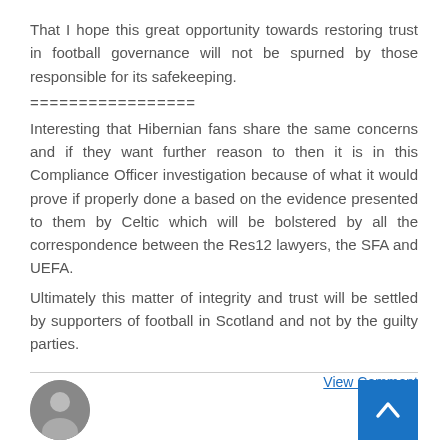That I hope this great opportunity towards restoring trust in football governance will not be spurned by those responsible for its safekeeping.
=================
Interesting that Hibernian fans share the same concerns and if they want further reason to then it is in this Compliance Officer investigation because of what it would prove if properly done a based on the evidence presented to them by Celtic which will be bolstered by all the correspondence between the Res12 lawyers, the SFA and UEFA.
Ultimately this matter of integrity and trust will be settled by supporters of football in Scotland and not by the guilty parties.
View Comment
[Figure (photo): Avatar photo thumbnail of a user, circular crop, bottom left]
[Figure (other): Blue scroll-to-top button with upward chevron arrow, bottom right]